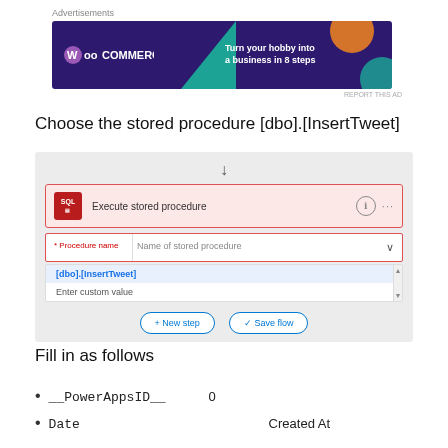[Figure (screenshot): WooCommerce advertisement banner: 'Turn your hobby into a business in 8 steps']
Choose the stored procedure [dbo].[InsertTweet]
[Figure (screenshot): Execute stored procedure UI with dropdown showing [dbo].[InsertTweet] and Enter custom value options, plus New step and Save flow buttons]
Fill in as follows
__PowerAppsID__    0
Date    Created At